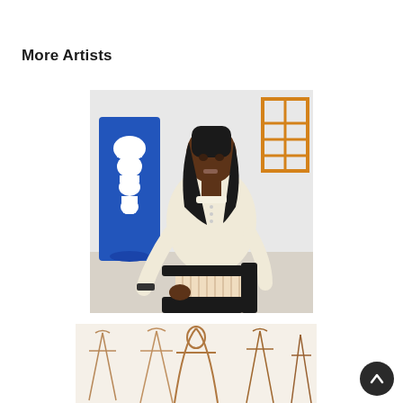More Artists
[Figure (illustration): Painting of a dark-skinned woman with long black hair seated in a black chair, wearing a cream/off-white long-sleeved blouse and light striped trousers. Behind her is a blue vase shape on the left and an orange grid/window frame on the right, against a pale grey-white background.]
[Figure (illustration): Partial view of a second artwork showing multiple outline figures or garments in light brown/tan lines on white background.]
[Figure (other): Scroll-to-top button with upward chevron arrow, dark circle on white background.]